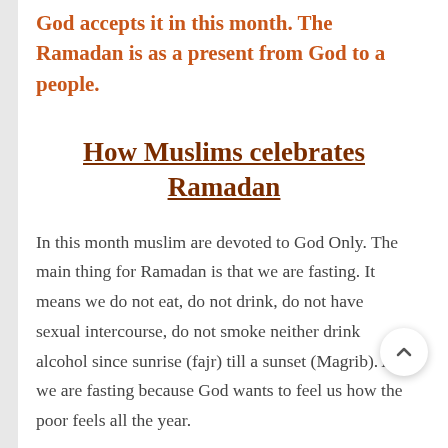God accepts it in this month. The Ramadan is as a present from God to a people.
How Muslims celebrates Ramadan
In this month muslim are devoted to God Only. The main thing for Ramadan is that we are fasting. It means we do not eat, do not drink, do not have sexual intercourse, do not smoke neither drink alcohol since sunrise (fajr) till a sunset (Magrib). And we are fasting because God wants to feel us how the poor feels all the year.